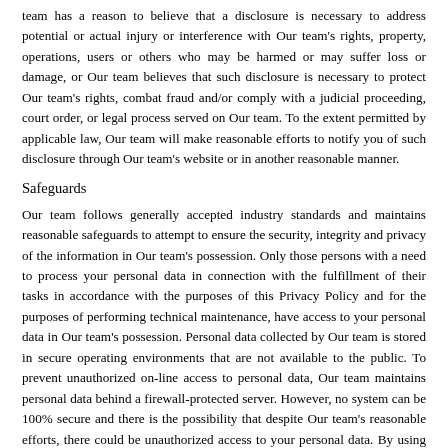team has a reason to believe that a disclosure is necessary to address potential or actual injury or interference with Our team's rights, property, operations, users or others who may be harmed or may suffer loss or damage, or Our team believes that such disclosure is necessary to protect Our team's rights, combat fraud and/or comply with a judicial proceeding, court order, or legal process served on Our team. To the extent permitted by applicable law, Our team will make reasonable efforts to notify you of such disclosure through Our team's website or in another reasonable manner.
Safeguards
Our team follows generally accepted industry standards and maintains reasonable safeguards to attempt to ensure the security, integrity and privacy of the information in Our team's possession. Only those persons with a need to process your personal data in connection with the fulfillment of their tasks in accordance with the purposes of this Privacy Policy and for the purposes of performing technical maintenance, have access to your personal data in Our team's possession. Personal data collected by Our team is stored in secure operating environments that are not available to the public. To prevent unauthorized on-line access to personal data, Our team maintains personal data behind a firewall-protected server. However, no system can be 100% secure and there is the possibility that despite Our team's reasonable efforts, there could be unauthorized access to your personal data. By using the Services, you assume this risk.